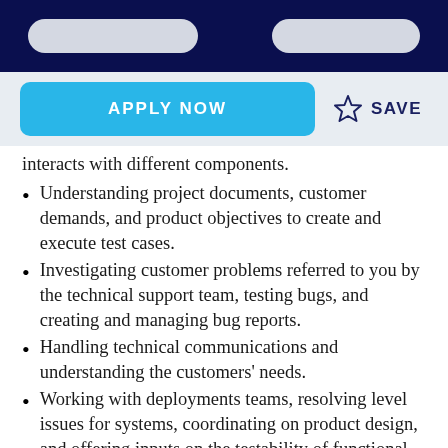[header bar with pills]
APPLY NOW  ☆ SAVE
interacts with different components.
Understanding project documents, customer demands, and product objectives to create and execute test cases.
Investigating customer problems referred to you by the technical support team, testing bugs, and creating and managing bug reports.
Handling technical communications and understanding the customers' needs.
Working with deployments teams, resolving level issues for systems, coordinating on product design, and offering inputs on the testability of functional elements and product